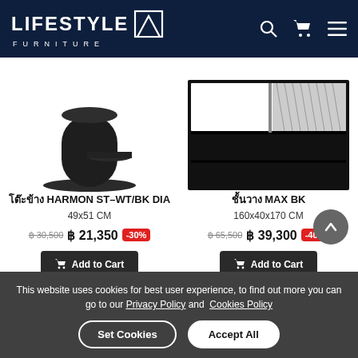LIFESTYLE FURNITURE
[Figure (photo): Black cylindrical side table with a round base shelf - HARMON ST-WT/BK DIA product photo]
[Figure (photo): Black open shelving unit with multiple compartments and books - MAX BK product photo]
โต๊ะข้าง HARMON ST-WT/BK DIA
49x51 CM
฿ 30,500  ฿ 21,350  -30%
ชั้นวาง MAX BK
160x40x170 CM
฿ 65,500  ฿ 39,300  -40%
Add to Cart
Add to Cart
This website uses cookies for best user experience, to find out more you can go to our Privacy Policy and  Cookies Policy
Set Cookies
Accept All